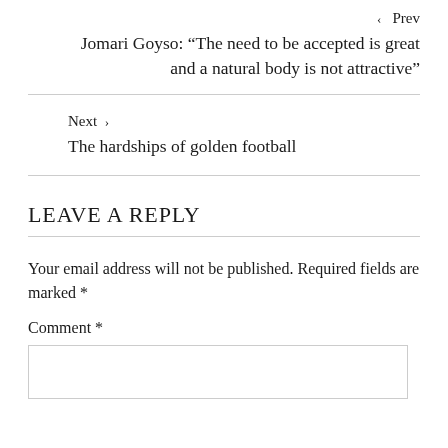‹  Prev
Jomari Goyso: “The need to be accepted is great and a natural body is not attractive”
Next  ›
The hardships of golden football
LEAVE A REPLY
Your email address will not be published. Required fields are marked *
Comment *